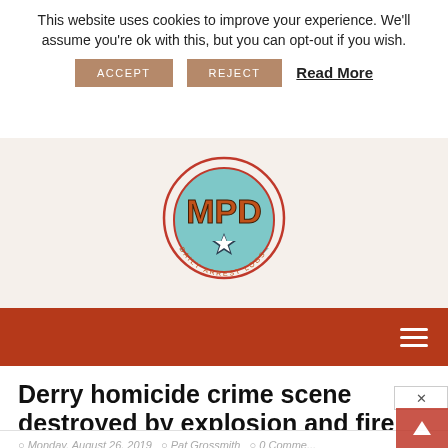This website uses cookies to improve your experience. We'll assume you're ok with this, but you can opt-out if you wish.
ACCEPT   REJECT   Read More
[Figure (logo): MPD Daily Arrest Logs circular logo with orange MPD text, teal badge shape, and star]
Navigation bar with hamburger menu icon
Derry homicide crime scene destroyed by explosion and fire
Monday, August 26, 2019  Pat Grossmith  0 Comments